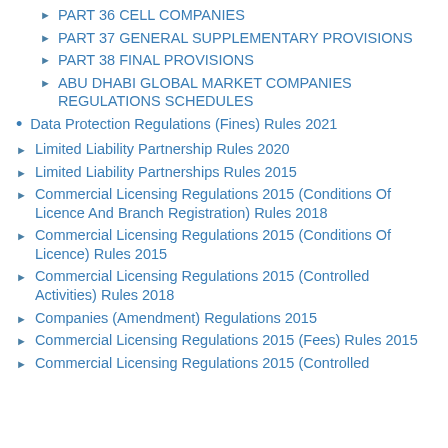PART 36 CELL COMPANIES
PART 37 GENERAL SUPPLEMENTARY PROVISIONS
PART 38 FINAL PROVISIONS
ABU DHABI GLOBAL MARKET COMPANIES REGULATIONS SCHEDULES
Data Protection Regulations (Fines) Rules 2021
Limited Liability Partnership Rules 2020
Limited Liability Partnerships Rules 2015
Commercial Licensing Regulations 2015 (Conditions Of Licence And Branch Registration) Rules 2018
Commercial Licensing Regulations 2015 (Conditions Of Licence) Rules 2015
Commercial Licensing Regulations 2015 (Controlled Activities) Rules 2018
Companies (Amendment) Regulations 2015
Commercial Licensing Regulations 2015 (Fees) Rules 2015
Commercial Licensing Regulations 2015 (Controlled